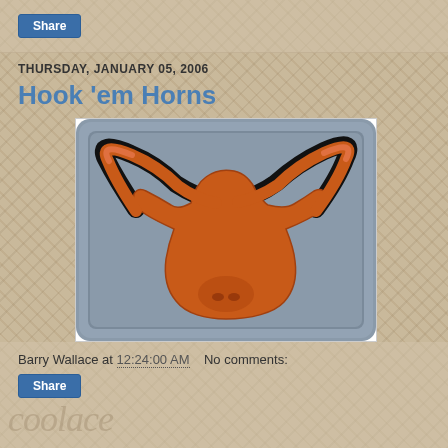Share
THURSDAY, JANUARY 05, 2006
Hook 'em Horns
[Figure (illustration): University of Texas Longhorns logo: an orange longhorn steer head and horns metallic emblem on a grey metallic rectangular plaque background]
Barry Wallace at 12:24:00 AM    No comments:
Share